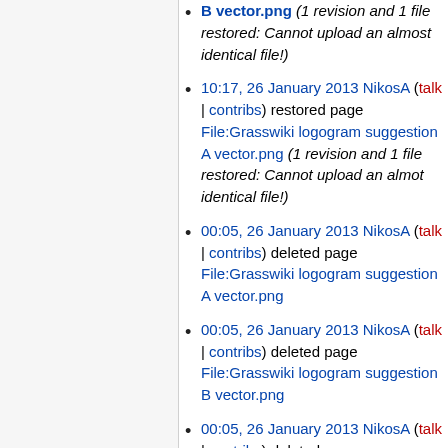B vector.png (1 revision and 1 file restored: Cannot upload an almost identical file!)
10:17, 26 January 2013 NikosA (talk | contribs) restored page File:Grasswiki logogram suggestion A vector.png (1 revision and 1 file restored: Cannot upload an almot identical file!)
00:05, 26 January 2013 NikosA (talk | contribs) deleted page File:Grasswiki logogram suggestion A vector.png
00:05, 26 January 2013 NikosA (talk | contribs) deleted page File:Grasswiki logogram suggestion B vector.png
00:05, 26 January 2013 NikosA (talk | contribs) deleted page File:Grasswiki logogram suggestion